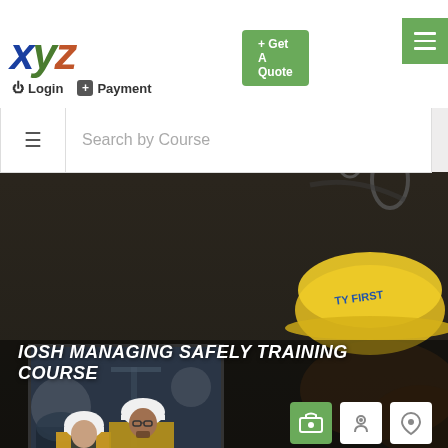XYZ — Login | Payment | + Get A Quote
Search by Course
[Figure (screenshot): Hero background: safety tools on dark wooden surface — hard hats, gloves, carabiners. A yellow hard hat labeled SAFETY FIRST is visible on the right. A smaller foreground photo shows two workers in yellow high-vis jackets and white hard hats reviewing a laptop in an industrial setting.]
IOSH MANAGING SAFELY TRAINING COURSE